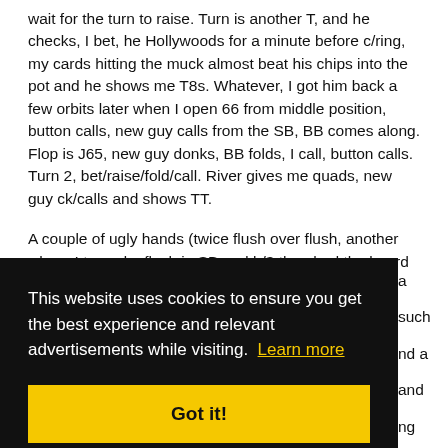wait for the turn to raise. Turn is another T, and he checks, I bet, he Hollywoods for a minute before c/ring, my cards hitting the muck almost beat his chips into the pot and he shows me T8s. Whatever, I got him back a few orbits later when I open 66 from middle position, button calls, new guy calls from the SB, BB comes along. Flop is J65, new guy donks, BB folds, I call, button calls. Turn 2, bet/raise/fold/call. River gives me quads, new guy ck/calls and shows TT.
A couple of ugly hands (twice flush over flush, another where I turned a flush in SB and b/3 then had the board pair on the...
[Figure (screenshot): Cookie consent overlay banner with black background. Text reads: 'This website uses cookies to ensure you get the best experience and relevant advertisements while visiting. Learn more' with a yellow 'Got it!' button.]
raise. BB mucks immediately, but killer tanks for a full minute, shows me his A and muchs. Tough fold, not many in...